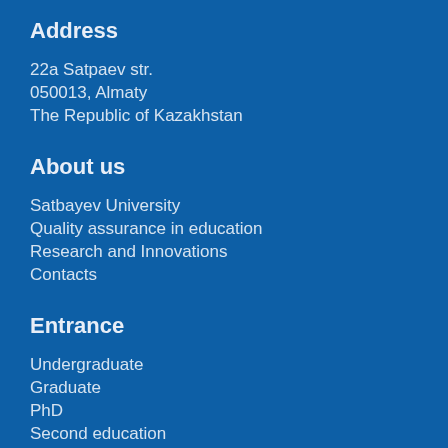Address
22a Satpaev str.
050013, Almaty
The Republic of Kazakhstan
About us
Satbayev University
Quality assurance in education
Research and Innovations
Contacts
Entrance
Undergraduate
Graduate
PhD
Second education